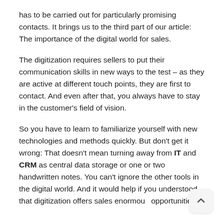has to be carried out for particularly promising contacts. It brings us to the third part of our article: The importance of the digital world for sales.
The digitization requires sellers to put their communication skills in new ways to the test – as they are active at different touch points, they are first to contact. And even after that, you always have to stay in the customer's field of vision.
So you have to learn to familiarize yourself with new technologies and methods quickly. But don't get it wrong: That doesn't mean turning away from IT and CRM as central data storage or one or two handwritten notes. You can't ignore the other tools in the digital world. And it would help if you understood that digitization offers sales enormous opportunities.